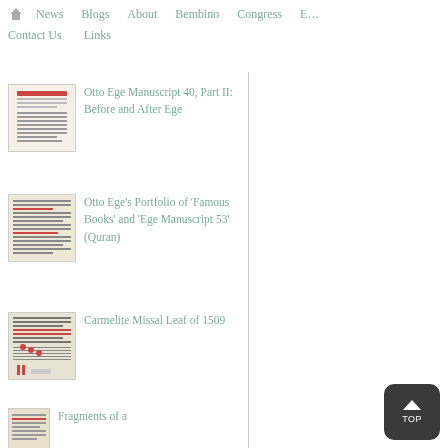News  Blogs  About  Bembino  Congress  E…
Contact Us  Links
Otto Ege Manuscript 40, Part II: Before and After Ege
Otto Ege's Portfolio of 'Famous Books' and 'Ege Manuscript 53' (Quran)
Carmelite Missal Leaf of 1509
Fragments of a